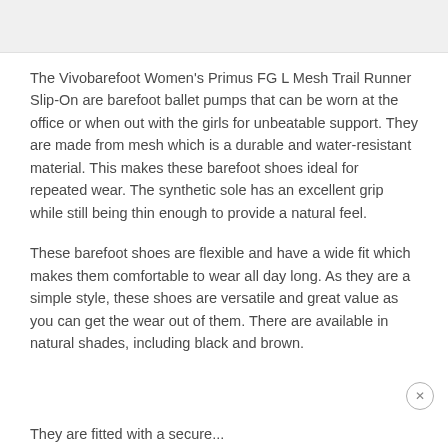[Figure (photo): Light gray image placeholder bar at the top of the page]
The Vivobarefoot Women's Primus FG L Mesh Trail Runner Slip-On are barefoot ballet pumps that can be worn at the office or when out with the girls for unbeatable support. They are made from mesh which is a durable and water-resistant material. This makes these barefoot shoes ideal for repeated wear. The synthetic sole has an excellent grip while still being thin enough to provide a natural feel.
These barefoot shoes are flexible and have a wide fit which makes them comfortable to wear all day long. As they are a simple style, these shoes are versatile and great value as you can get the wear out of them. There are available in natural shades, including black and brown.
They are fitted with a secure...